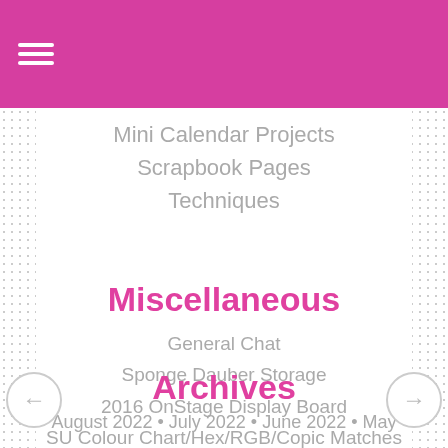☰
Mini Calendar Projects
Scrapbook Pages
Techniques
Miscellaneous
General Chat
Sponge Dauber Storage
2016 OnStage Display Board
SU Colour Chart/Hex/RGB/Copic Matches
Archives
August 2022 • July 2022 • June 2022 • May